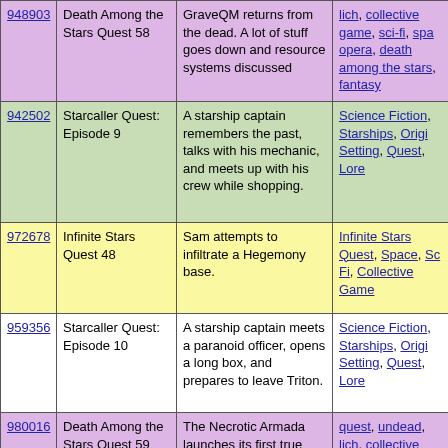| ID | Title | Description | Tags |
| --- | --- | --- | --- |
| 948903 | Death Among the Stars Quest 58 | GraveQM returns from the dead. A lot of stuff goes down and resource systems discussed | lich, collective game, sci-fi, space opera, death among the stars, fantasy |
| 942502 | Starcaller Quest: Episode 9 | A starship captain remembers the past, talks with his mechanic, and meets up with his crew while shopping. | Science Fiction, Starships, Original Setting, Quest, Lore |
| 972678 | Infinite Stars Quest 48 | Sam attempts to infiltrate a Hegemony base. | Infinite Stars Quest, Space, Sci Fi, Collective Game |
| 959356 | Starcaller Quest: Episode 10 | A starship captain meets a paranoid officer, opens a long box, and prepares to leave Triton. | Science Fiction, Starships, Original Setting, Quest, Lore |
| 980016 | Death Among the Stars Quest 59 | The Necrotic Armada launches its first true invasion against the Osjiic system B'Nan already in the midst of an invasion by the Ahkam | quest, undead, lich, collective game, sci-fi, space opera, death among the stars, fantasy |